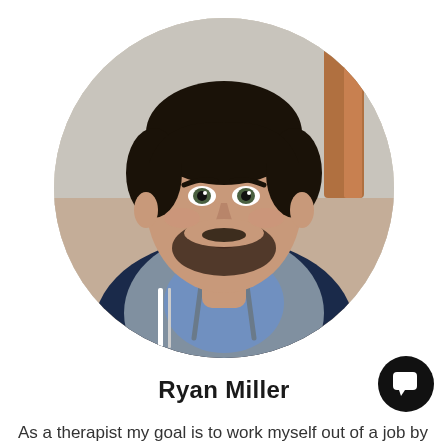[Figure (photo): Circular cropped portrait photo of Ryan Miller, a young man with dark hair and beard wearing a grey hoodie over a blue shirt and dark jacket, photographed outdoors]
Ryan Miller
[Figure (other): Black circular chat/message button icon in bottom right area]
As a therapist my goal is to work myself out of a job by guiding you through healing and, giving you the